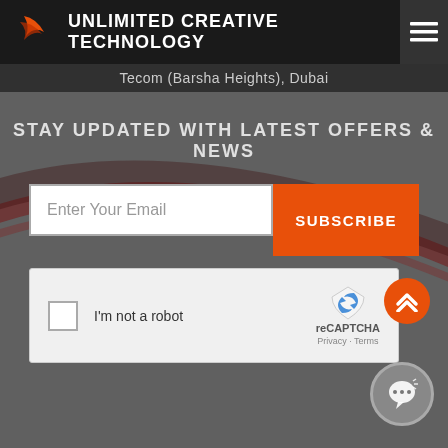UNLIMITED CREATIVE TECHNOLOGY
Tecom (Barsha Heights), Dubai
STAY UPDATED WITH LATEST OFFERS & NEWS
[Figure (screenshot): Email subscription form with text input 'Enter Your Email' and orange 'SUBSCRIBE' button, plus a reCAPTCHA 'I'm not a robot' checkbox widget]
[Figure (other): Orange circular scroll-to-top button with double chevron up arrows]
[Figure (other): Gray circular chat/messaging button with speech bubble icon]